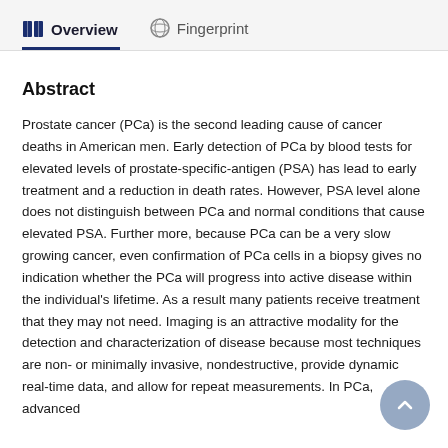Overview | Fingerprint
Abstract
Prostate cancer (PCa) is the second leading cause of cancer deaths in American men. Early detection of PCa by blood tests for elevated levels of prostate-specific-antigen (PSA) has lead to early treatment and a reduction in death rates. However, PSA level alone does not distinguish between PCa and normal conditions that cause elevated PSA. Further more, because PCa can be a very slow growing cancer, even confirmation of PCa cells in a biopsy gives no indication whether the PCa will progress into active disease within the individual's lifetime. As a result many patients receive treatment that they may not need. Imaging is an attractive modality for the detection and characterization of disease because most techniques are non- or minimally invasive, nondestructive, provide dynamic real-time data, and allow for repeat measurements. In PCa, advanced